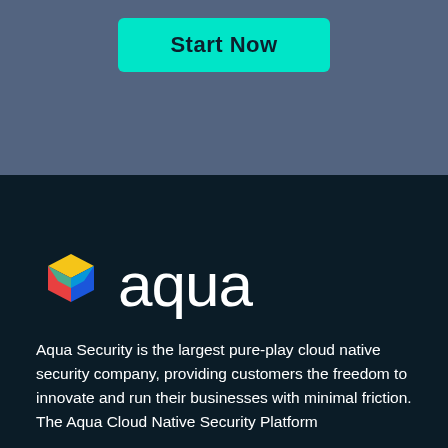Start Now
[Figure (logo): Aqua Security logo with colorful cube icon and white 'aqua' wordmark on dark background]
Aqua Security is the largest pure-play cloud native security company, providing customers the freedom to innovate and run their businesses with minimal friction. The Aqua Cloud Native Security Platform